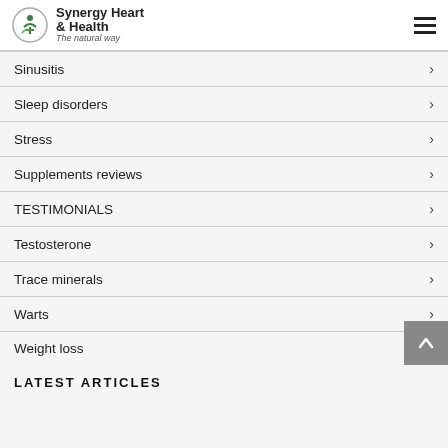Synergy Heart & Health — The natural way
Sinusitis
Sleep disorders
Stress
Supplements reviews
TESTIMONIALS
Testosterone
Trace minerals
Warts
Weight loss
LATEST ARTICLES